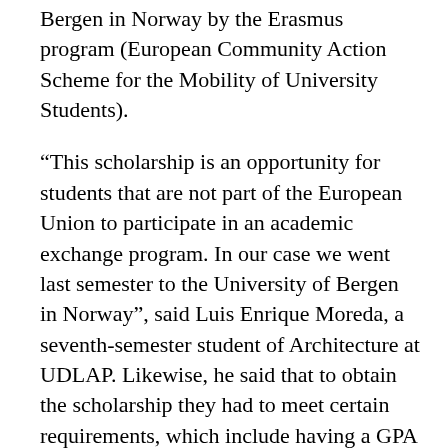Bergen in Norway by the Erasmus program (European Community Action Scheme for the Mobility of University Students).
“This scholarship is an opportunity for students that are not part of the European Union to participate in an academic exchange program. In our case we went last semester to the University of Bergen in Norway”, said Luis Enrique Moreda, a seventh-semester student of Architecture at UDLAP. Likewise, he said that to obtain the scholarship they had to meet certain requirements, which include having a GPA of at least 8.5, have a level 2 on the TOEFL, and have a high academic performance.
Finally, he explained that the scholarship included “a regular exchange for a semester at the Faculty of Humanities of the University of Bergen. We also took advantage of our stay to carry out other activities, such